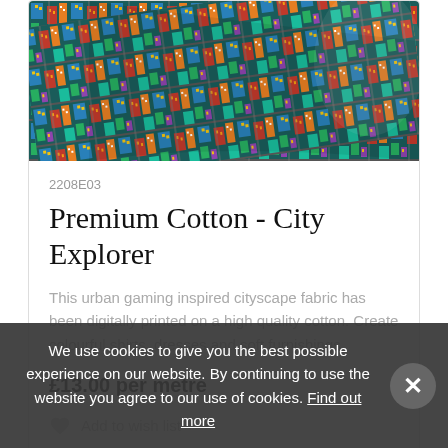[Figure (photo): Rolled fabric with colorful urban gaming inspired cityscape print — buildings, streets, bold colors in isometric style]
2208E03
Premium Cotton - City Explorer
This urban gaming inspired cityscape fabric has been digitally printed on a high quality cotton. Create colourful shirts, dresses and soft furnishings.
£13.00 per metre
Add to wish list
We use cookies to give you the best possible experience on our website. By continuing to use the website you agree to our use of cookies. Find out more